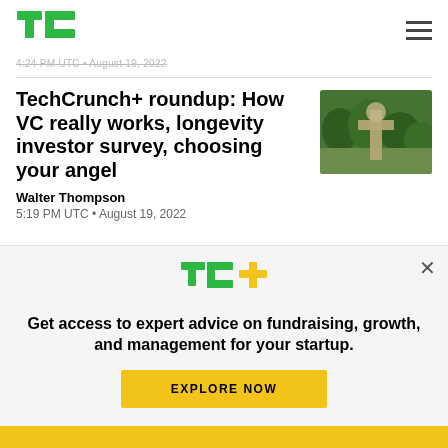TechCrunch logo and navigation
4:24 PM UTC • August 19, 2022
TechCrunch+ roundup: How VC really works, longevity investor survey, choosing your angel
Walter Thompson
5:19 PM UTC • August 19, 2022
[Figure (photo): Aerial view of a cross or monument surrounded by green trees and landscape]
[Figure (logo): TC+ logo with green TC and yellow plus sign]
Get access to expert advice on fundraising, growth, and management for your startup.
EXPLORE NOW